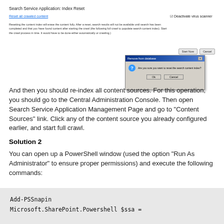[Figure (screenshot): Screenshot of SharePoint Search Service Application: Index Reset page with a confirmation dialog box asking 'Are you sure you want to reset the search content index?']
And then you should re-index all content sources. For this operation, you should go to the Central Administration Console. Then open Search Service Application Management Page and go to “Content Sources” link. Click any of the content source you already configured earlier, and start full crawl.
Solution 2
You can open up a PowerShell window (used the option “Run As Administrator” to ensure proper permissions) and execute the following commands:
Add-PSSnapin
Microsoft.SharePoint.Powershell $ssa =